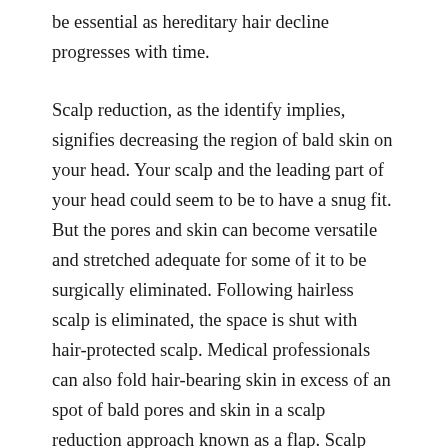be essential as hereditary hair decline progresses with time.
Scalp reduction, as the identify implies, signifies decreasing the region of bald skin on your head. Your scalp and the leading part of your head could seem to be to have a snug fit. But the pores and skin can become versatile and stretched adequate for some of it to be surgically eliminated. Following hairless scalp is eliminated, the space is shut with hair-protected scalp. Medical professionals can also fold hair-bearing skin in excess of an spot of bald pores and skin in a scalp reduction approach known as a flap. Scalp reduction can be mixed with hair transplantation to trend a natural-hunting hairline in those with more in depth hair decline.